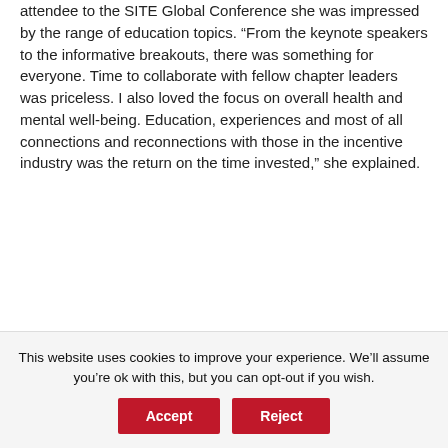attendee to the SITE Global Conference she was impressed by the range of education topics. “From the keynote speakers to the informative breakouts, there was something for everyone. Time to collaborate with fellow chapter leaders was priceless. I also loved the focus on overall health and mental well-being. Education, experiences and most of all connections and reconnections with those in the incentive industry was the return on the time invested,” she explained.
This website uses cookies to improve your experience. We’ll assume you’re ok with this, but you can opt-out if you wish.
Accept
Reject